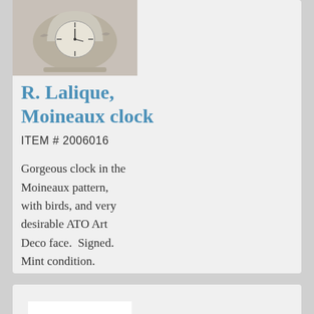[Figure (photo): Photo of R. Lalique Moineaux clock in frosted glass with Art Deco face]
R. Lalique, Moineaux clock
ITEM # 2006016
Gorgeous clock in the Moineaux pattern, with birds, and very desirable ATO Art Deco face.  Signed. Mint condition.
[Figure (photo): Photo of a Lalique glass vase with floral/bird pattern in pink tones]